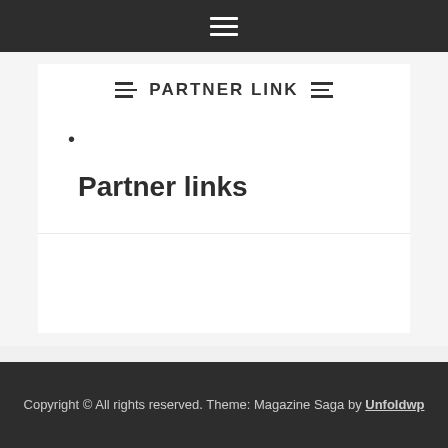PARTNER LINK
•
Partner links
Copyright © All rights reserved. Theme: Magazine Saga by Unfoldwp